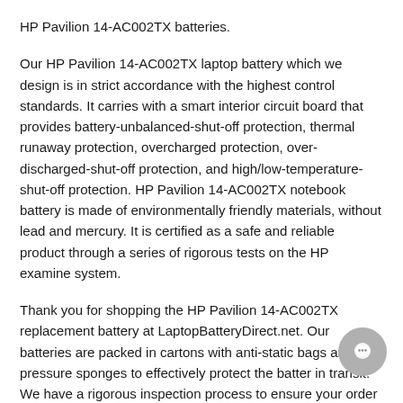HP Pavilion 14-AC002TX batteries.
Our HP Pavilion 14-AC002TX laptop battery which we design is in strict accordance with the highest control standards. It carries with a smart interior circuit board that provides battery-unbalanced-shut-off protection, thermal runaway protection, overcharged protection, over-discharged-shut-off protection, and high/low-temperature-shut-off protection. HP Pavilion 14-AC002TX notebook battery is made of environmentally friendly materials, without lead and mercury. It is certified as a safe and reliable product through a series of rigorous tests on the HP examine system.
Thank you for shopping the HP Pavilion 14-AC002TX replacement battery at LaptopBatteryDirect.net. Our batteries are packed in cartons with anti-static bags and anti-pressure sponges to effectively protect the battery in transit. We have a rigorous inspection process to ensure your order (e.g. HP Pavilion 14-AC002TX replacement